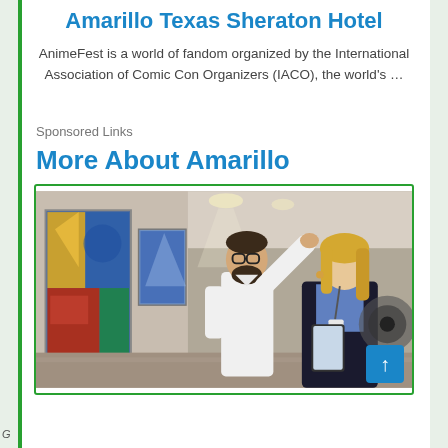Amarillo Texas Sheraton Hotel
AnimeFest is a world of fandom organized by the International Association of Comic Con Organizers (IACO), the world's …
Sponsored Links
More About Amarillo
[Figure (photo): Two people in an art gallery — a bearded man with glasses in a white shirt gesturing toward colorful paintings on the wall, and a blonde woman in a dark blazer holding a tablet, both looking at the artwork. Gallery lighting overhead.]